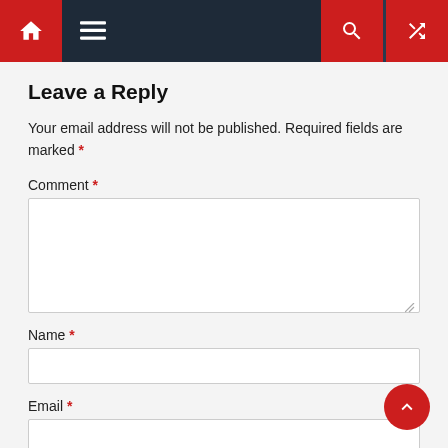Navigation bar with home, menu, search, and shuffle icons
Leave a Reply
Your email address will not be published. Required fields are marked *
Comment *
Name *
Email *